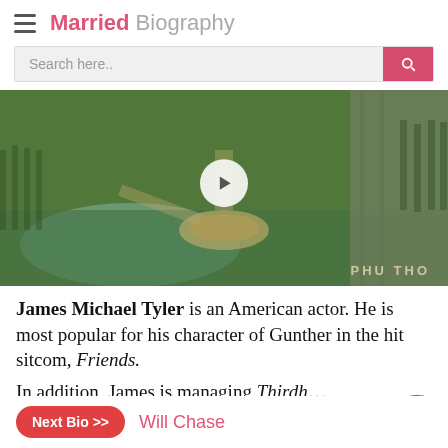Married Biography
[Figure (screenshot): Aerial drone video thumbnail of Phu Tho park with green trees, lake, and roads. Play button in center. 'PHU THO' text overlay at bottom right.]
James Michael Tyler is an American actor. He is most popular for his character of Gunther in the hit sitcom, Friends.
In addition, James is managing Thirdh...
Next Bio >> Will Chase